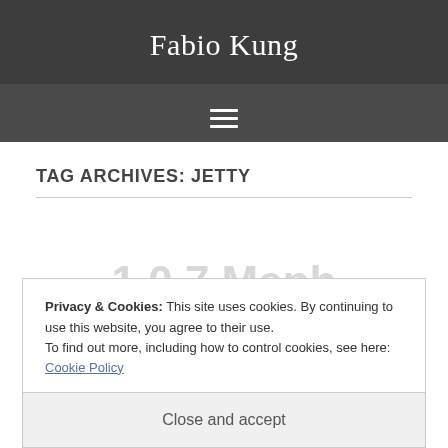Fabio Kung
TAG ARCHIVES: JETTY
Privacy & Cookies: This site uses cookies. By continuing to use this website, you agree to their use.
To find out more, including how to control cookies, see here: Cookie Policy
Close and accept